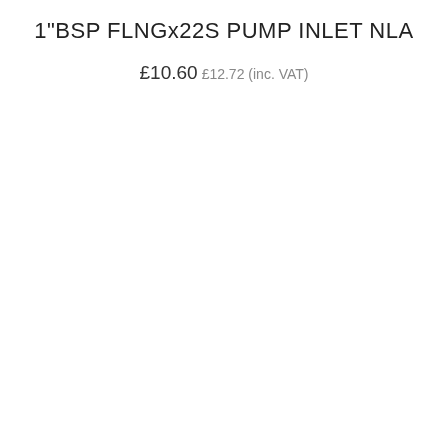1"BSP FLNGx22S PUMP INLET NLA
£10.60 £12.72 (inc. VAT)